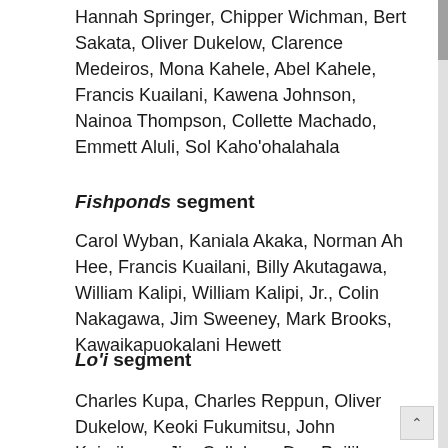Hannah Springer, Chipper Wichman, Bert Sakata, Oliver Dukelow, Clarence Medeiros, Mona Kahele, Abel Kahele, Francis Kuailani, Kawena Johnson, Nainoa Thompson, Collette Machado, Emmett Aluli, Sol Kaho'ohalahala
Fishponds segment
Carol Wyban, Kaniala Akaka, Norman Ah Hee, Francis Kuailani, Billy Akutagawa, William Kalipi, William Kalipi, Jr., Colin Nakagawa, Jim Sweeney, Mark Brooks, Kawaikapuokalani Hewett
Lo'i segment
Charles Kupa, Charles Reppun, Oliver Dukelow, Keoki Fukumitsu, John Kaimikaua, Jim Callahan, Dan Puilihau,